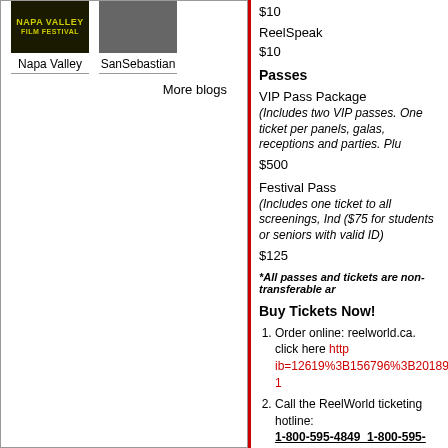[Figure (photo): Napa Valley Film Festival logo - dark background with yellow/green text]
[Figure (photo): SanSebastian film festival image - dark photo]
Napa Valley
SanSebastian
More blogs
$10
ReelSpeak
$10
Passes
VIP Pass Package
(Includes two VIP passes. One ticket per panels, galas, receptions and parties. Plu
$500
Festival Pass
(Includes one ticket to all screenings, Ind ($75 for students or seniors with valid ID)
$125
*All passes and tickets are non-transferable ar
Buy Tickets Now!
Order online: reelworld.ca.  click here http ib=12619%3B156796%3B201899%3B-1
Call the ReelWorld ticketing hotline: 1-800-595-4849  1-800-595-4849 .
Visit the ReelWorld office: 438 Parliament Street, 2nd floor,